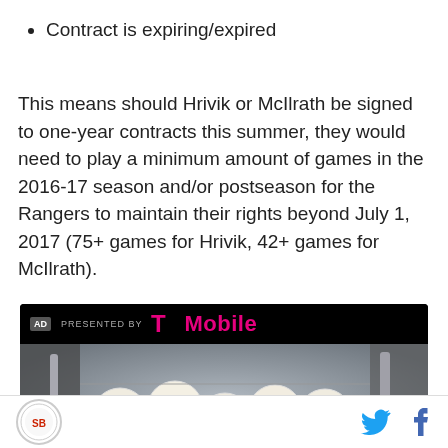Contract is expiring/expired
This means should Hrivik or McIlrath be signed to one-year contracts this summer, they would need to play a minimum amount of games in the 2016-17 season and/or postseason for the Rangers to maintain their rights beyond July 1, 2017 (75+ games for Hrivik, 42+ games for McIlrath).
[Figure (photo): Advertisement banner: Presented by T-Mobile, with a photo of baseballs in a rack/cage with bats]
SB Nation logo with Twitter and Facebook social icons